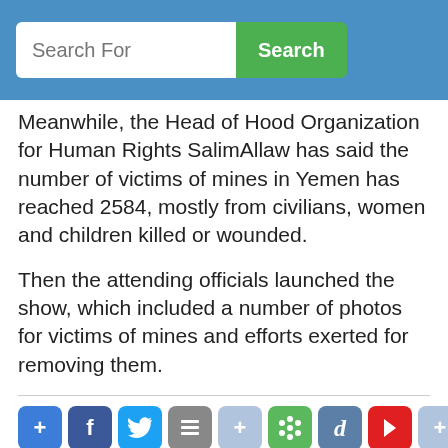Search For | Search
Meanwhile, the Head of Hood Organization for Human Rights SalimAllaw has said the number of victims of mines in Yemen has reached 2584, mostly from civilians, women and children killed or wounded.
Then the attending officials launched the show, which included a number of photos for victims of mines and efforts exerted for removing them.
[Figure (other): Social sharing buttons row: +, Facebook, Twitter, Buffer, +, Greenbook, d, Flipboard, +]
Key words:
constitutional - "MASAM"Khaled - international - Meanwhile - International - catastrophes - Humanitarian - Organization - appreciation